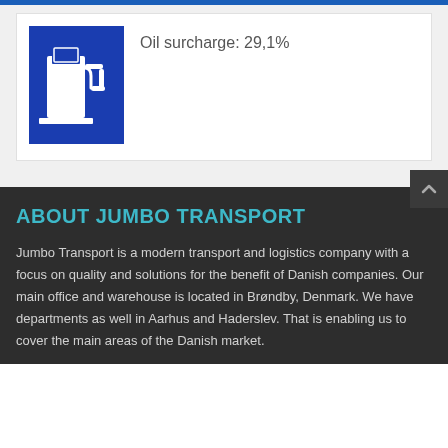[Figure (illustration): Blue square icon showing a white fuel pump / gas station pump silhouette]
Oil surcharge: 29,1%
ABOUT JUMBO TRANSPORT
Jumbo Transport is a modern transport and logistics company with a focus on quality and solutions for the benefit of Danish companies. Our main office and warehouse is located in Brøndby, Denmark. We have departments as well in Aarhus and Haderslev. That is enabling us to cover the main areas of the Danish market.